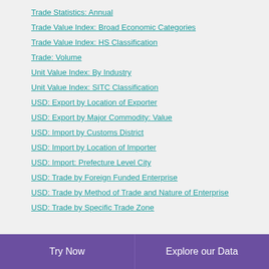Trade Statistics: Annual
Trade Value Index: Broad Economic Categories
Trade Value Index: HS Classification
Trade: Volume
Unit Value Index: By Industry
Unit Value Index: SITC Classification
USD: Export by Location of Exporter
USD: Export by Major Commodity: Value
USD: Import by Customs District
USD: Import by Location of Importer
USD: Import: Prefecture Level City
USD: Trade by Foreign Funded Enterprise
USD: Trade by Method of Trade and Nature of Enterprise
USD: Trade by Specific Trade Zone
Try Now   Explore our Data